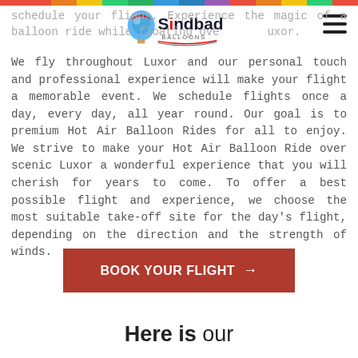[Figure (logo): Sindbad Balloons logo with hot air balloon icon and curved text]
schedule your flight. Experience the magic of a balloon ride while floating over Luxor.
We fly throughout Luxor and our personal touch and professional experience will make your flight a memorable event. We schedule flights once a day, every day, all year round. Our goal is to premium Hot Air Balloon Rides for all to enjoy. We strive to make your Hot Air Balloon Ride over scenic Luxor a wonderful experience that you will cherish for years to come. To offer a best possible flight and experience, we choose the most suitable take-off site for the day's flight, depending on the direction and the strength of winds.
BOOK YOUR FLIGHT →
Here is our